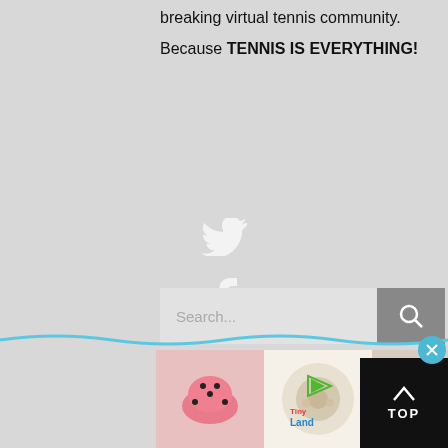breaking virtual tennis community.
Because TENNIS IS EVERYTHING!
[Figure (illustration): Social media icons: Twitter bird, Facebook f, YouTube, Instagram camera — displayed vertically centered, white on gray background]
[Figure (screenshot): Search bar with placeholder text 'Search...' and a gray search button with magnifying glass icon]
[Figure (infographic): Wave decoration bar in blue/white]
[Figure (photo): Row of product thumbnail images: pink helmet, round white rug, children's room decor, moon lamp, princess tent, teepee tent]
[Figure (logo): Tiny Land brand logo with play button icon]
[Figure (other): TOP button - black rectangle with up arrow and TOP text]
[Figure (other): Close/X button in teal circle]